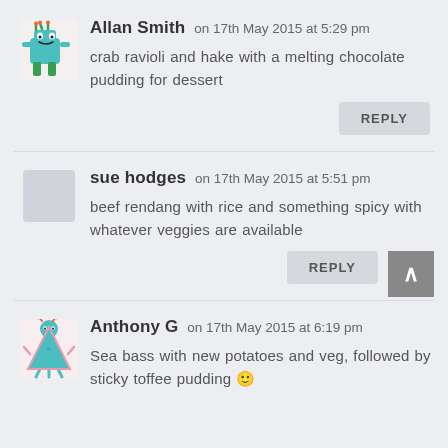Allan Smith on 17th May 2015 at 5:29 pm
crab ravioli and hake with a melting chocolate pudding for dessert
REPLY
sue hodges on 17th May 2015 at 5:51 pm
beef rendang with rice and something spicy with whatever veggies are available
REPLY
Anthony G on 17th May 2015 at 6:19 pm
Sea bass with new potatoes and veg, followed by sticky toffee pudding 🙂